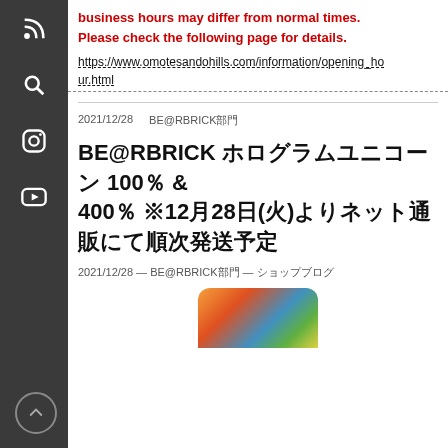business hours may differ from normal times. Please check the following page for details.
https://www.omotesandohills.com/information/opening_hour.html
2021/12/28    BE@RBRICK部門
BE@RBRICK ホログラムユニコーン 100％ & 400％ ※12月28日(火)よりネット通販にて順次発送予定
2021/12/28 — BE@RBRICK部門 — ショップブログ